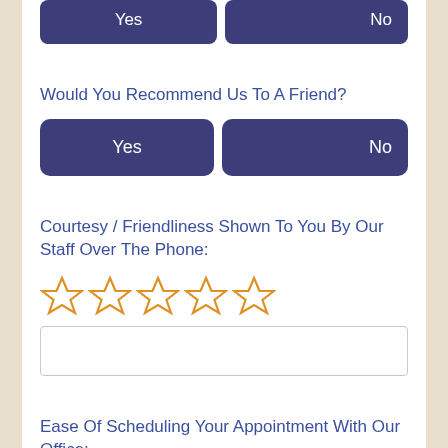[Figure (other): Yes/No button pair at top (partially visible, cropped)]
Would You Recommend Us To A Friend?
[Figure (other): Yes/No button pair for 'Would You Recommend Us To A Friend?']
Courtesy / Friendliness Shown To You By Our Staff Over The Phone:
[Figure (other): 5 empty star rating widgets for Courtesy/Friendliness]
Ease Of Scheduling Your Appointment With Our Office:
[Figure (other): 5 empty star rating widgets for Ease Of Scheduling]